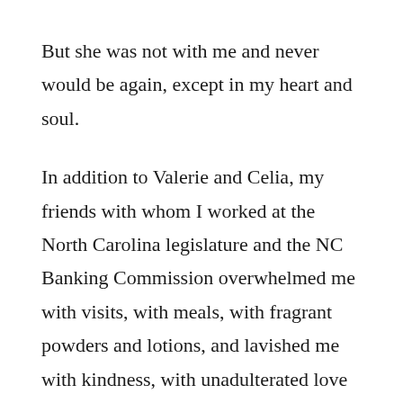But she was not with me and never would be again, except in my heart and soul.
In addition to Valerie and Celia, my friends with whom I worked at the North Carolina legislature and the NC Banking Commission overwhelmed me with visits, with meals, with fragrant powders and lotions, and lavished me with kindness, with unadulterated love and compassion. Never had I felt such an outpouring of friendship and companionship.
A cliche but true–no man is an island. All my